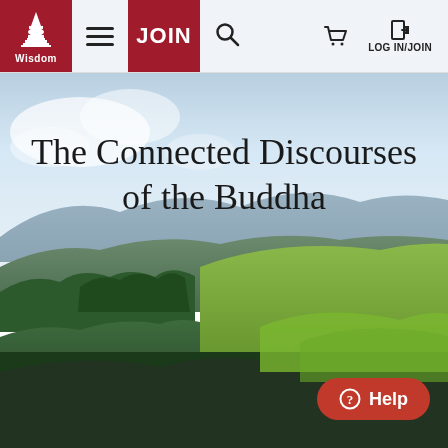Wisdom Publications navigation bar with logo, JOIN button, search, cart, and LOG IN/JOIN
[Figure (screenshot): Website header/navbar for Wisdom Publications with red logo box containing stupa icon and 'Wisdom' text, hamburger menu, red JOIN button, search icon, shopping cart icon, and LOG IN/JOIN text]
The Connected Discourses of the Buddha
[Figure (photo): Scenic landscape photograph showing green rolling hills, trees, and mountains under a partly cloudy sky with a blue-tinged horizon]
Help